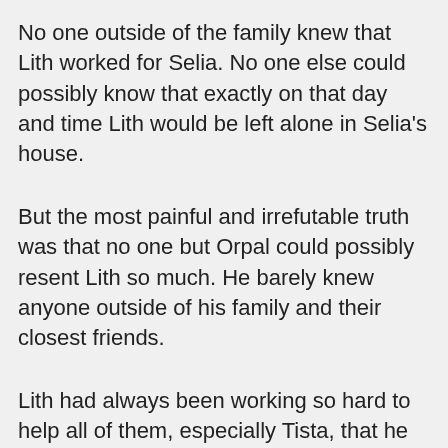No one outside of the family knew that Lith worked for Selia. No one else could possibly know that exactly on that day and time Lith would be left alone in Selia's house.
But the most painful and irrefutable truth was that no one but Orpal could possibly resent Lith so much. He barely knew anyone outside of his family and their closest friends.
Lith had always been working so hard to help all of them, especially Tista, that he never had the time to make friends or enemies.